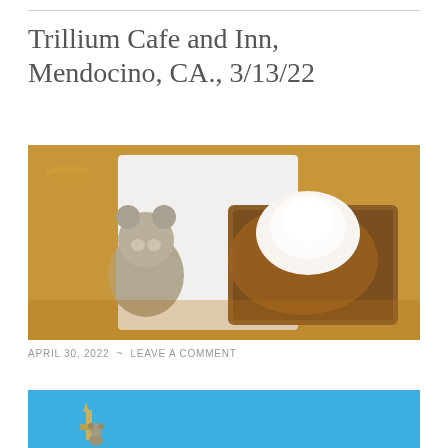Trillium Cafe and Inn, Mendocino, CA., 3/13/22
[Figure (photo): Overhead photo of a white plate with French toast topped with caramel sauce and whipped cream, next to a stuffed animal bear and a glass of juice/drink, with golden/amber liquid background]
APRIL 30, 2022  ~  LEAVE A COMMENT
[Figure (photo): Partial photo with blue sky background showing top of a decorative object or sculpture, with a small stuffed bear visible]